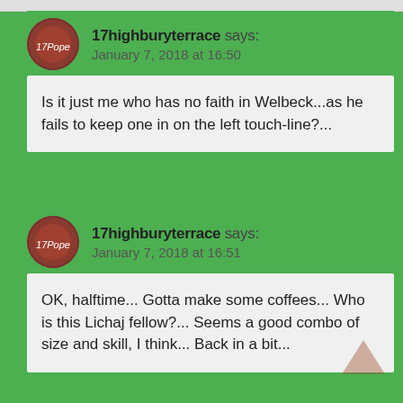17highburyterrace says: January 7, 2018 at 16:50
Is it just me who has no faith in Welbeck...as he fails to keep one in on the left touch-line?...
17highburyterrace says: January 7, 2018 at 16:51
OK, halftime... Gotta make some coffees... Who is this Lichaj fellow?... Seems a good combo of size and skill, I think... Back in a bit...